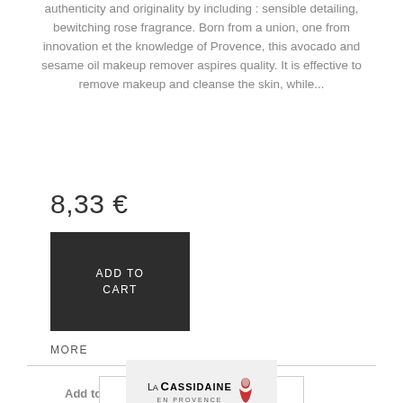authenticity and originality by including : sensible detailing, bewitching rose fragrance. Born from a union, one from innovation et the knowledge of Provence, this avocado and sesame oil makeup remover aspires quality. It is effective to remove makeup and cleanse the skin, while...
8,33 €
ADD TO CART
MORE
Add to Compare
[Figure (logo): La Cassidaine en Provence logo with small illustrated figure]